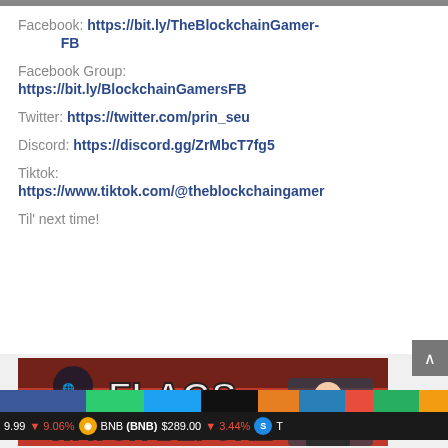Facebook: https://bit.ly/TheBlockchainGamer-FB
Facebook Group: https://bit.ly/BlockchainGamersFB
Twitter: https://twitter.com/prin_seu
Discord: https://discord.gg/ZrMbcT7fg5
Tiktok: https://www.tiktok.com/@theblockchaingamer
Til' next time!
[Figure (screenshot): YouTube video thumbnail showing 'How to Know Which Blockc...' with TBG logo and anime character, red background with FLAGS text and WATCH BEFORE text]
9.99  9.06%  BNB (BNB) $289.00  3.44%  T